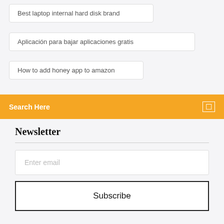Best laptop internal hard disk brand
Aplicación para bajar aplicaciones gratis
How to add honey app to amazon
Search Here
Newsletter
Enter email
Subscribe